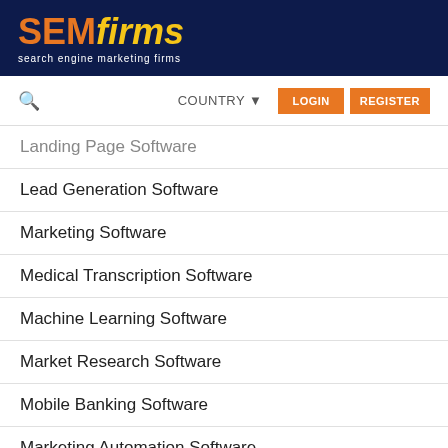SEMfirms — search engine marketing firms
Landing Page Software
Lead Generation Software
Marketing Software
Medical Transcription Software
Machine Learning Software
Market Research Software
Mobile Banking Software
Marketing Automation Software
Mobile Marketing Software
Network Security Software